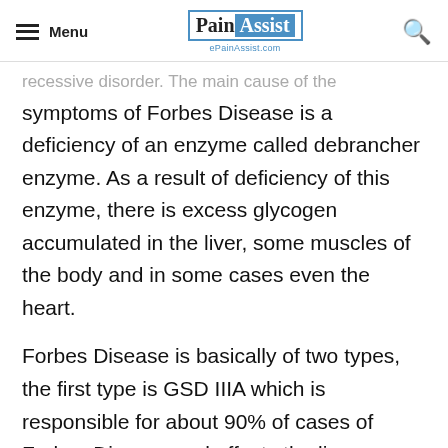Menu | PainAssist ePainAssist.com
recessive disorder. The main cause of the symptoms of Forbes Disease is a deficiency of an enzyme called debrancher enzyme. As a result of deficiency of this enzyme, there is excess glycogen accumulated in the liver, some muscles of the body and in some cases even the heart.
Forbes Disease is basically of two types, the first type is GSD IIIA which is responsible for about 90% of cases of Forbes Disease and affects the liver as well as the muscles. The remaining 10% have GSD-IIIB form in which only the liver is affected due to abnormal accumulation of glycogen as a result of Forbes Disease.